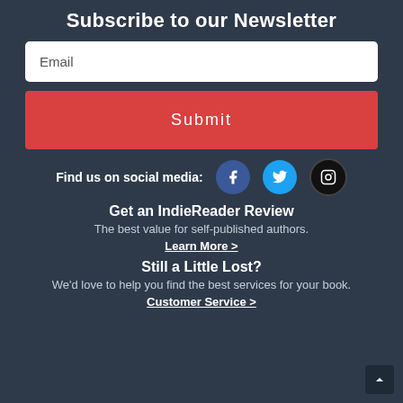Subscribe to our Newsletter
Email
Submit
Find us on social media:
[Figure (illustration): Three social media icons: Facebook (blue circle with f), Twitter (cyan circle with bird), Instagram (black circle with camera outline)]
Get an IndieReader Review
The best value for self-published authors.
Learn More >
Still a Little Lost?
We'd love to help you find the best services for your book.
Customer Service >